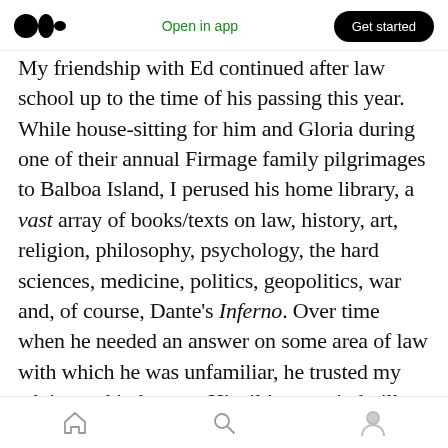Open in app | Get started
My friendship with Ed continued after law school up to the time of his passing this year. While house-sitting for him and Gloria during one of their annual Firmage family pilgrimages to Balboa Island, I perused his home library, a vast array of books/texts on law, history, art, religion, philosophy, psychology, the hard sciences, medicine, politics, geopolitics, war and, of course, Dante's Inferno. Over time when he needed an answer on some area of law with which he was unfamiliar, he trusted my advice and judgment. His tilting at windmills often resulted in referrals on behalf of people whom
Home | Search | Profile